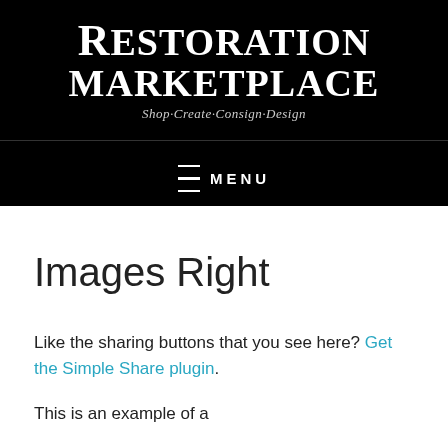[Figure (logo): Restoration Marketplace logo with white serif text on black background. Text reads RESTORATION MARKETPLACE with tagline Shop·Create·Consign·Design]
≡  MENU
Images Right
Like the sharing buttons that you see here? Get the Simple Share plugin.
This is an example of a